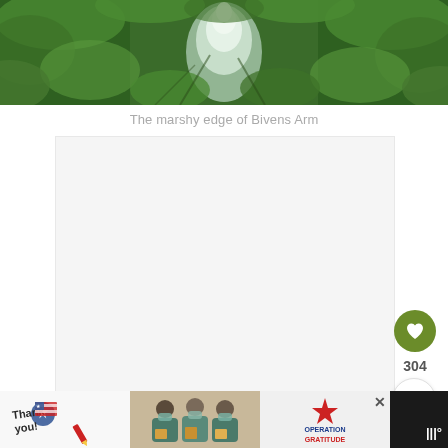[Figure (photo): Marshy edge of Bivens Arm — lush green vegetation surrounding a narrow water channel with light reflecting off the surface]
The marshy edge of Bivens Arm
[Figure (photo): Blank/loading image placeholder (white rectangle with light gray border)]
[Figure (other): UI element: green heart/like button showing 304 likes and a share button below]
[Figure (photo): Advertisement banner: Operation Gratitude ad with thank you note illustration, healthcare workers holding packages, and Operation Gratitude logo. Close button (X) in top right. Weather icon in bottom right.]